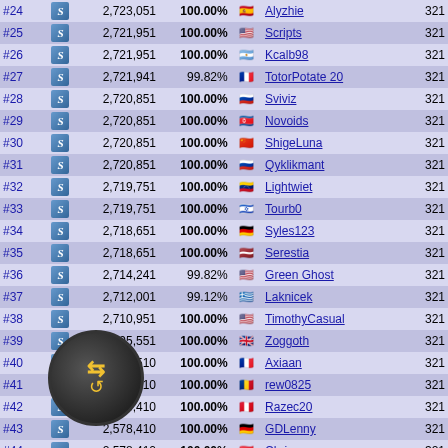| Rank | Icon | Score | Pct | Flag | Name | Num |
| --- | --- | --- | --- | --- | --- | --- |
| #24 | S | 2,723,051 | 100.00% | ES | Alyzhie | 321 |
| #25 | S | 2,721,951 | 100.00% | US | Scripts | 321 |
| #26 | S | 2,721,951 | 100.00% | AR | Kcalb98 | 321 |
| #27 | S | 2,721,941 | 99.82% | FR | TotorPotate 20 | 321 |
| #28 | S | 2,720,851 | 100.00% | RU | Sviviz | 321 |
| #29 | S | 2,720,851 | 100.00% | KP | Novoids | 321 |
| #30 | S | 2,720,851 | 100.00% | CN | ShigeLuna | 321 |
| #31 | S | 2,720,851 | 100.00% | RU | Qyklikmant | 321 |
| #32 | S | 2,719,751 | 100.00% | VE | Lightwiet | 321 |
| #33 | S | 2,719,751 | 100.00% | IL | Tourb0 | 321 |
| #34 | S | 2,718,651 | 100.00% | DE | Syles123 | 321 |
| #35 | S | 2,718,651 | 100.00% | LV | Serestia | 321 |
| #36 | S | 2,714,241 | 99.82% | US | Green Ghost | 321 |
| #37 | S | 2,712,001 | 99.12% | GR | Laknicek | 321 |
| #38 | S | 2,710,951 | 100.00% | US | TimothyCasual | 321 |
| #39 | S | 2,695,551 | 100.00% | GB | Zoggoth | 321 |
| #40 | S | 2,579,510 | 100.00% | FR | Axiaan | 321 |
| #41 | S | 2,579,510 | 100.00% | RO | rew0825 | 321 |
| #42 | S | 2,578,410 | 100.00% | PE | Razec20 | 321 |
| #43 | S | 2,578,410 | 100.00% | DE | GDLenny | 321 |
| #44 | S | 2,578,410 | 100.00% | AT | Chriszo | 321 |
| #45 | S | 2,578,410 | 100.00% | CN | serenity_P | 321 |
| #46 | S | 2,577,310 | 100.00% | NL | gamo467467 | 321 |
| #47 | S | 2,577,310 | 100.00% | IS | Osdare | 321 |
| #48 | S | 2,577,310 | 100.00% | RO | Police | 321 |
| #49 | S | 2,577,310 | 100.00% | KP | BlackBN | 321 |